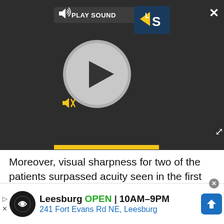[Figure (screenshot): Video player with dark background, play button circle, speaker/mute controls, PLAY SOUND label, LS logo, yellow progress bar, close (X) button top right, expand arrows bottom right]
Moreover, visual sharpness for two of the patients surpassed acuity seen in the first clinical trial. Three were able to read letters spontaneously. In addition, in and outside the laboratory, five patients reported the ability to recognize facial characteristics such as the presence or absence of eyeglasses, as well as distinguish objects such as telephones, read signs and find doorknobs, see where plates and cutlery were on tables and tell red wine from white wine. Patients described blurry, flickering images of the
[Figure (infographic): Advertisement banner: Leesburg store, OPEN 10AM-9PM, 241 Fort Evans Rd NE Leesburg, with circular logo and navigation arrow icon]